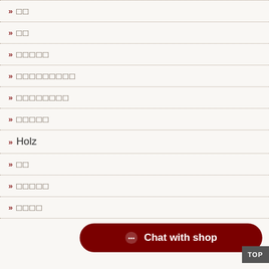» □□
» □□
» □□□□□
» □□□□□□□□□
» □□□□□□□□
» □□□□□
» Holz
» □□
» □□□□□
» □□□□